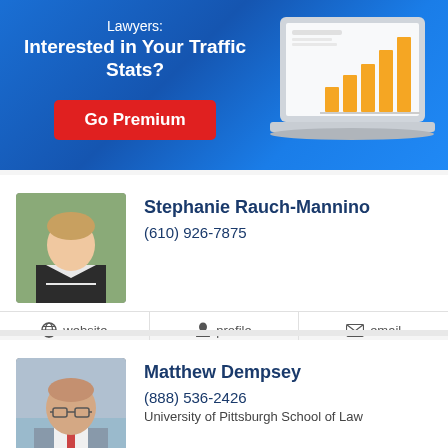[Figure (infographic): Blue gradient banner with text 'Lawyers: Interested in Your Traffic Stats?' and a red 'Go Premium' button, plus a laptop illustration showing a bar chart]
Stephanie Rauch-Mannino
(610) 926-7875
website  profile  email
Matthew Dempsey
(888) 536-2426
University of Pittsburgh School of Law